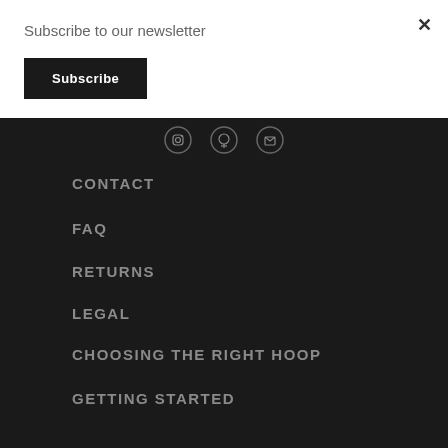Subscribe to our newsletter
Subscribe
×
[Figure (illustration): Three circular social media icons (Instagram, Pinterest, another social icon) in a row on dark background]
CONTACT
FAQ
RETURNS
LEGAL
CHOOSING THE RIGHT HOOP
GETTING STARTED